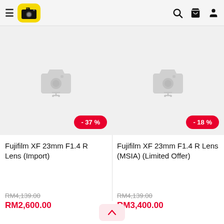Camera Gallery — navigation header with hamburger menu, logo, search, cart, and user icons
[Figure (screenshot): Product image placeholder showing a grey shopping cart icon with a -37% red discount badge for first product]
Fujifilm XF 23mm F1.4 R Lens (Import)
RM4,139.00
RM2,600.00
[Figure (screenshot): Product image placeholder showing a grey shopping cart icon with a -18% red discount badge for second product]
Fujifilm XF 23mm F1.4 R Lens (MSIA) (Limited Offer)
RM4,139.00
RM3,400.00